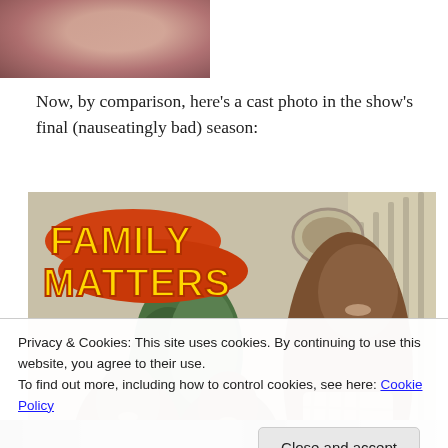[Figure (photo): Cropped top of a photo showing a person in a reddish/maroon shirt with a tie, partially visible head.]
Now, by comparison, here’s a cast photo in the show’s final (nauseatingly bad) season:
[Figure (photo): Family Matters TV show cast photo with logo. Shows three smiling people (two women and a tall man) in a warm indoor setting with stairs and plants. The Family Matters logo is in yellow and orange bold lettering in the top left.]
Privacy & Cookies: This site uses cookies. By continuing to use this website, you agree to their use.
To find out more, including how to control cookies, see here: Cookie Policy
Close and accept